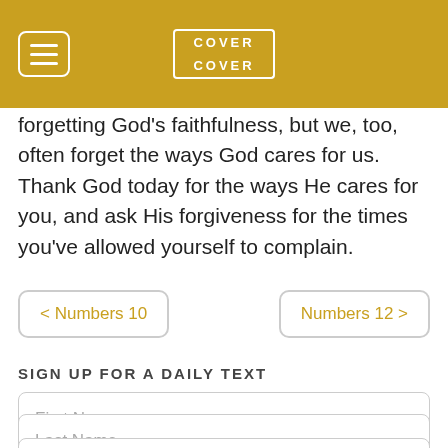COVER COVER
forgetting God's faithfulness, but we, too, often forget the ways God cares for us. Thank God today for the ways He cares for you, and ask His forgiveness for the times you've allowed yourself to complain.
< Numbers 10    Numbers 12 >
SIGN UP FOR A DAILY TEXT
First Name
Last Name
Email Address